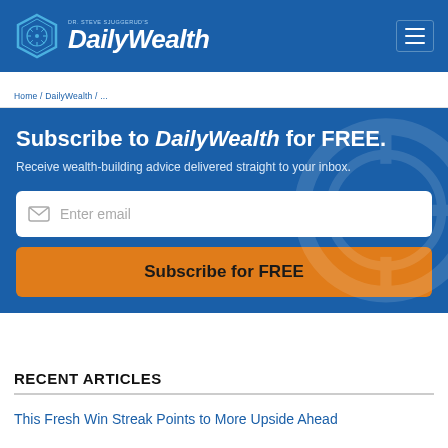DR. STEVE SJUGGERUD'S DailyWealth
Home / DailyWealth / ...
Subscribe to DailyWealth for FREE. Receive wealth-building advice delivered straight to your inbox.
RECENT ARTICLES
This Fresh Win Streak Points to More Upside Ahead